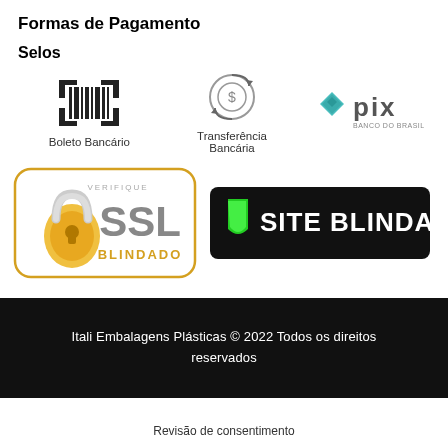Formas de Pagamento
Selos
[Figure (logo): Three payment method icons: Boleto Bancário (barcode icon), Transferência Bancária (circular arrows with dollar icon), and PIX logo]
[Figure (logo): SSL Blindado security seal with orange padlock and SSL text, and Site Blindado badge with green shield on black background]
Itali Embalagens Plásticas © 2022 Todos os direitos reservados
Revisão de consentimento